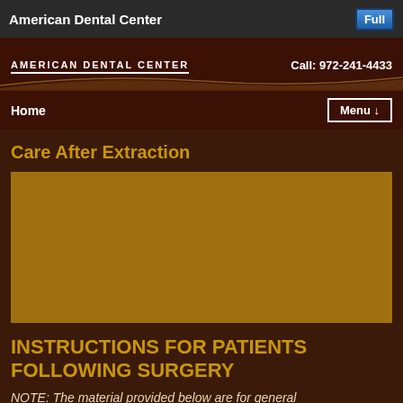American Dental Center
[Figure (logo): American Dental Center logo with decorative wave and text on dark brown background. Phone number: Call: 972-241-4433]
Care After Extraction
[Figure (photo): Golden/amber colored image placeholder box]
INSTRUCTIONS FOR PATIENTS FOLLOWING SURGERY
NOTE: The material provided below are for general